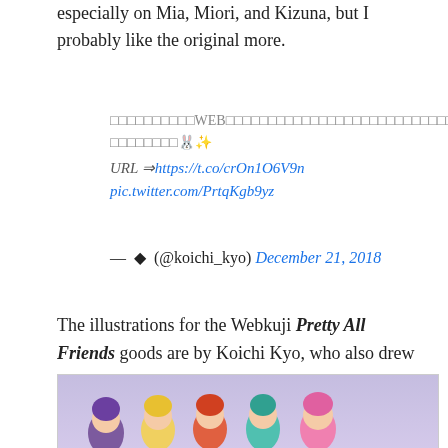especially on Mia, Miori, and Kizuna, but I probably like the original more.
□□□□□□□□□□WEB□□□□□□□□□□□□□□□□□□□□□□□□□□□□□□□□□□□□□□□□□□□□□□□□□□□□ □□□□□□□□🐰✨
URL ⇒https://t.co/crOn1O6V9n
pic.twitter.com/PrtqKgb9yz
— ◆ (@koichi_kyo) December 21, 2018
The illustrations for the Webkuji Pretty All Friends goods are by Koichi Kyo, who also drew this great picture.
[Figure (illustration): Chibi anime character figures from Pretty All Friends lined up, with colorful hair (purple, yellow, orange-red, teal, pink). Text at bottom reads 'Pretty All Friend...']